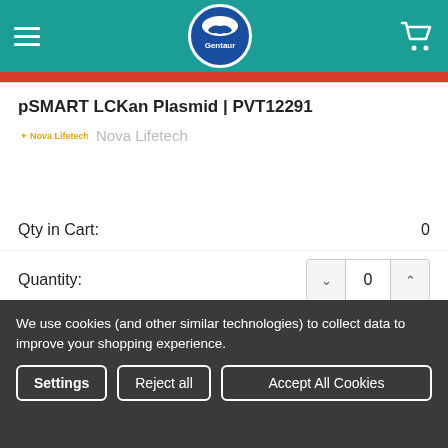[Figure (logo): Gentaur website header with teal background, hamburger menu, circular Gentaur logo, and cart icon]
pSMART LCKan Plasmid | PVT12291
Nova Lifetech
Qty in Cart: 0
Quantity: 0
Price: $1,093.20
Subtotal: $0
We use cookies (and other similar technologies) to collect data to improve your shopping experience.
Settings
Reject all
Accept All Cookies